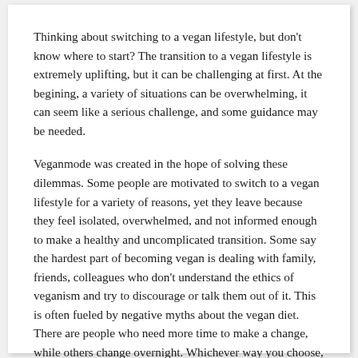Thinking about switching to a vegan lifestyle, but don't know where to start? The transition to a vegan lifestyle is extremely uplifting, but it can be challenging at first. At the begining, a variety of situations can be overwhelming, it can seem like a serious challenge, and some guidance may be needed.
Veganmode was created in the hope of solving these dilemmas. Some people are motivated to switch to a vegan lifestyle for a variety of reasons, yet they leave because they feel isolated, overwhelmed, and not informed enough to make a healthy and uncomplicated transition. Some say the hardest part of becoming vegan is dealing with family, friends, colleagues who don't understand the ethics of veganism and try to discourage or talk them out of it. This is often fueled by negative myths about the vegan diet. There are people who need more time to make a change, while others change overnight. Whichever way you choose, the point should be that you want to change!